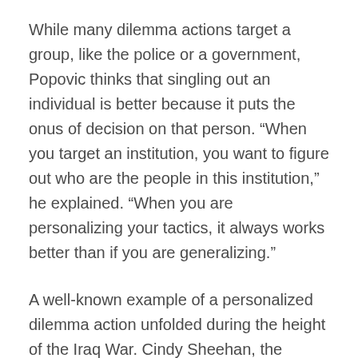While many dilemma actions target a group, like the police or a government, Popovic thinks that singling out an individual is better because it puts the onus of decision on that person. “When you target an institution, you want to figure out who are the people in this institution,” he explained. “When you are personalizing your tactics, it always works better than if you are generalizing.”
A well-known example of a personalized dilemma action unfolded during the height of the Iraq War. Cindy Sheehan, the mother of a soldier who had been killed in action, set up camp outside George W. Bush’s ranch in Crawford, Texas while he was vacationing there. She vowed not to leave until the